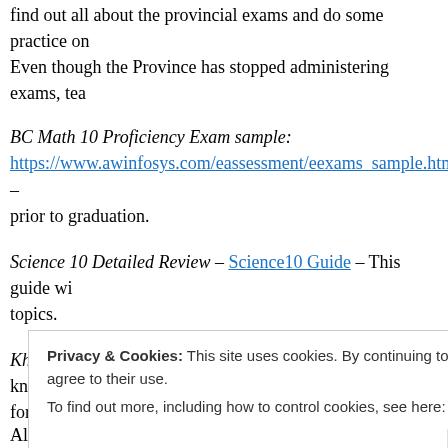find out all about the provincial exams and do some practice on Even though the Province has stopped administering exams, tea
BC Math 10 Proficiency Exam sample: https://www.awinfosys.com/eassessment/eexams_sample.htm – prior to graduation.
Science 10 Detailed Review – Science10 Guide – This guide wi topics.
Khan Academy – www.khanacademy.org – This well known we for many different subjects.
Privacy & Cookies: This site uses cookies. By continuing to use this website, you agree to their use. To find out more, including how to control cookies, see here: Cookie Policy
Close and accept
All of a sudden you are very helpful. Thanks for sharing. All th cia